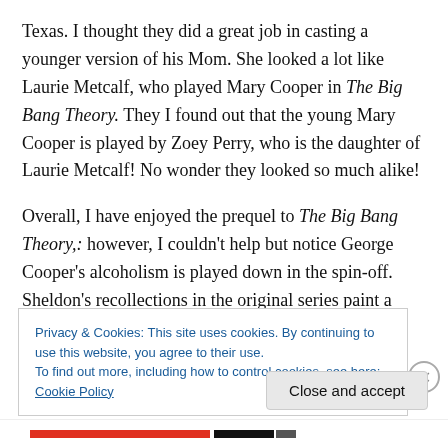Texas. I thought they did a great job in casting a younger version of his Mom. She looked a lot like Laurie Metcalf, who played Mary Cooper in The Big Bang Theory. They I found out that the young Mary Cooper is played by Zoey Perry, who is the daughter of Laurie Metcalf! No wonder they looked so much alike!
Overall, I have enjoyed the prequel to The Big Bang Theory,: however, I couldn't help but notice George Cooper's alcoholism is played down in the spin-off. Sheldon's recollections in the original series paint a
Privacy & Cookies: This site uses cookies. By continuing to use this website, you agree to their use.
To find out more, including how to control cookies, see here: Cookie Policy